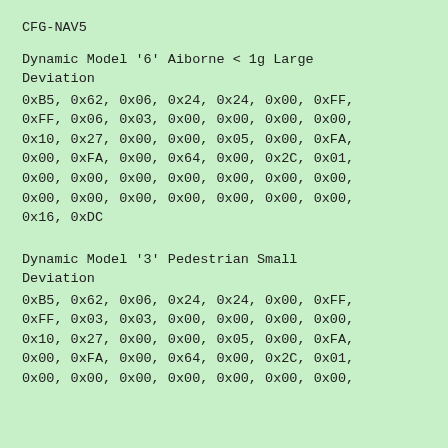CFG-NAV5
Dynamic Model '6' Aiborne < 1g Large Deviation
0xB5, 0x62, 0x06, 0x24, 0x24, 0x00, 0xFF,
0xFF, 0x06, 0x03, 0x00, 0x00, 0x00, 0x00,
0x10, 0x27, 0x00, 0x00, 0x05, 0x00, 0xFA,
0x00, 0xFA, 0x00, 0x64, 0x00, 0x2C, 0x01,
0x00, 0x00, 0x00, 0x00, 0x00, 0x00, 0x00,
0x00, 0x00, 0x00, 0x00, 0x00, 0x00, 0x00,
0x16, 0xDC
Dynamic Model '3' Pedestrian Small Deviation
0xB5, 0x62, 0x06, 0x24, 0x24, 0x00, 0xFF,
0xFF, 0x03, 0x03, 0x00, 0x00, 0x00, 0x00,
0x10, 0x27, 0x00, 0x00, 0x05, 0x00, 0xFA,
0x00, 0xFA, 0x00, 0x64, 0x00, 0x2C, 0x01,
0x00, 0x00, 0x00, 0x00, 0x00, 0x00, 0x00,